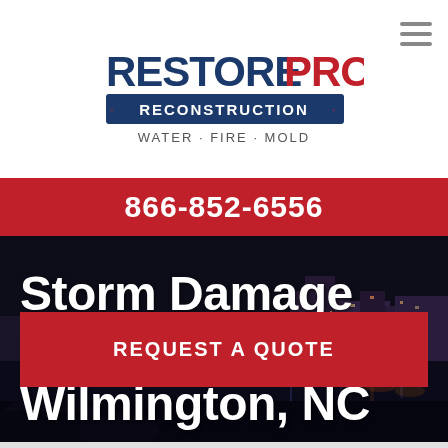[Figure (logo): RestorePro Reconstruction logo with WATER · FIRE · MOLD tagline]
866-852-6556
[Figure (photo): Night cityscape of Wilmington NC waterfront with city lights reflected on water]
Storm Damage Repair in Wilmington, NC
REQUEST A QUOTE